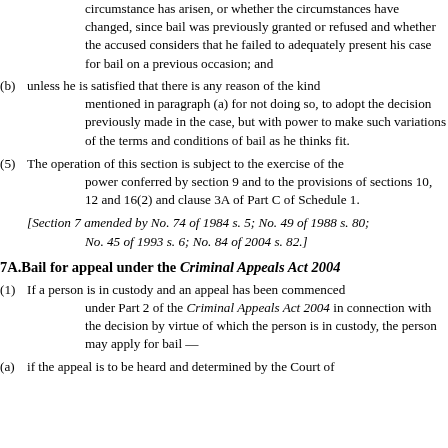circumstance has arisen, or whether the circumstances have changed, since bail was previously granted or refused and whether the accused considers that he failed to adequately present his case for bail on a previous occasion; and
(b) unless he is satisfied that there is any reason of the kind mentioned in paragraph (a) for not doing so, to adopt the decision previously made in the case, but with power to make such variations of the terms and conditions of bail as he thinks fit.
(5) The operation of this section is subject to the exercise of the power conferred by section 9 and to the provisions of sections 10, 12 and 16(2) and clause 3A of Part C of Schedule 1.
[Section 7 amended by No. 74 of 1984 s. 5; No. 49 of 1988 s. 80; No. 45 of 1993 s. 6; No. 84 of 2004 s. 82.]
7A. Bail for appeal under the Criminal Appeals Act 2004
(1) If a person is in custody and an appeal has been commenced under Part 2 of the Criminal Appeals Act 2004 in connection with the decision by virtue of which the person is in custody, the person may apply for bail —
(a) if the appeal is to be heard and determined by the Court of